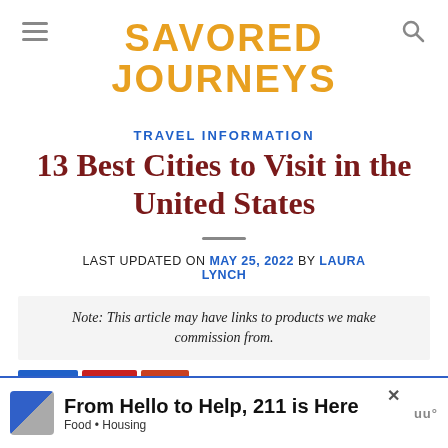SAVORED JOURNEYS
TRAVEL INFORMATION
13 Best Cities to Visit in the United States
LAST UPDATED ON MAY 25, 2022 BY LAURA LYNCH
Note: This article may have links to products we make commission from.
[Figure (other): Advertisement banner: From Hello to Help, 211 is Here. Food • Housing]